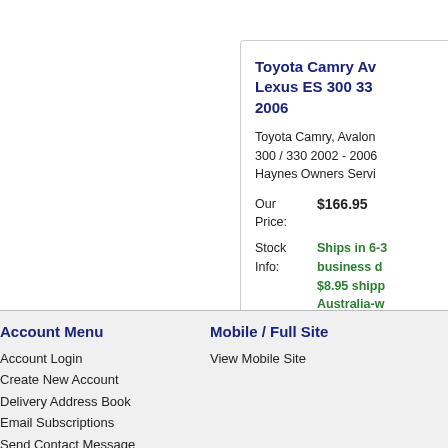Toyota Camry Av Lexus ES 300 33 2006
Toyota Camry, Avalon 300 / 330 2002 - 2006 Haynes Owners Servi
Our Price: $166.95
Stock Info: Ships in 6-3 business d $8.95 shipp Australia-w
Account Menu
Account Login
Create New Account
Delivery Address Book
Email Subscriptions
Send Contact Message
Mobile / Full Site
View Mobile Site